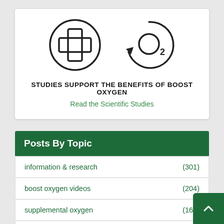[Figure (illustration): Two circular icons side by side: a medical plus/cross symbol in a circle on the left, and an O2 recycling/cycle arrow symbol on the right]
STUDIES SUPPORT THE BENEFITS OF BOOST OXYGEN
Read the Scientific Studies
Posts By Topic
information & research (301)
boost oxygen videos (204)
supplemental oxygen (168)
portable oxygen (158)